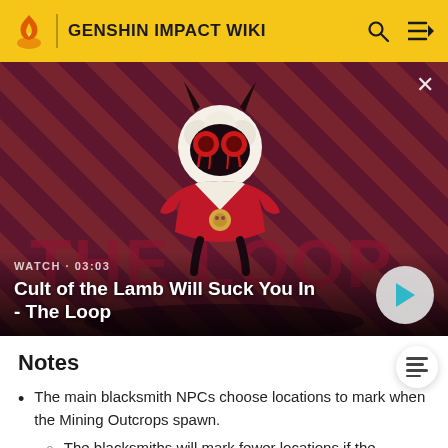GENSHIN IMPACT WIKI
[Figure (screenshot): Video thumbnail for 'Cult of the Lamb Will Suck You In - The Loop' with a cartoon lamb character on a red diagonal-striped background. Shows WATCH • 03:03 label and a play button.]
Notes
The main blacksmith NPCs choose locations to mark when the Mining Outcrops spawn.
The blacksmiths will mark fewer locations if the